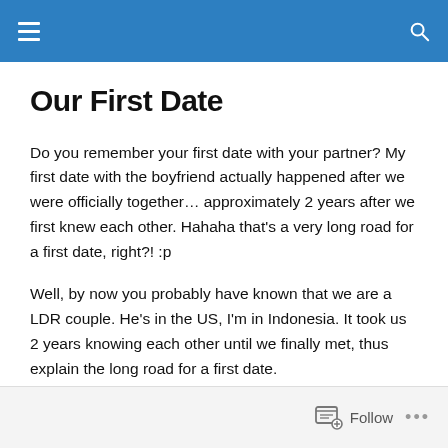Our First Date
Do you remember your first date with your partner? My first date with the boyfriend actually happened after we were officially together… approximately 2 years after we first knew each other. Hahaha that's a very long road for a first date, right?! :p
Well, by now you probably have known that we are a LDR couple. He's in the US, I'm in Indonesia. It took us 2 years knowing each other until we finally met, thus explain the long road for a first date.
Follow